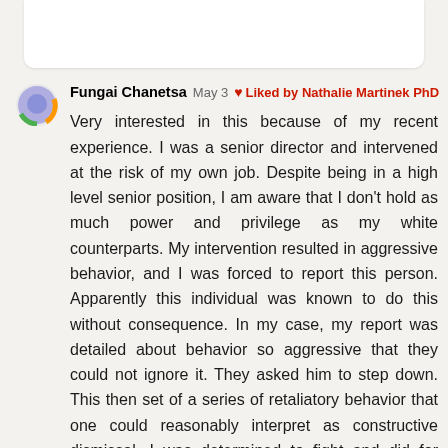[Figure (other): Rounded white card element at top of page, partially visible]
[Figure (illustration): Circular avatar icon with blue/purple circle, green arc, orange arc, representing Fungai Chanetsa's profile picture]
Fungai Chanetsa  May 3  ❤ Liked by Nathalie Martinek PhD
Very interested in this because of my recent experience. I was a senior director and intervened at the risk of my own job. Despite being in a high level senior position, I am aware that I don't hold as much power and privilege as my white counterparts. My intervention resulted in aggressive behavior, and I was forced to report this person. Apparently this individual was known to do this without consequence. In my case, my report was detailed about behavior so aggressive that they could not ignore it. They asked him to step down. This then set of a series of retaliatory behavior that one could reasonably interpret as constructive dismissal. I was determined to fight and did for almost a year. It took a toll on my mental and physical health and I finally left. The thing is, there